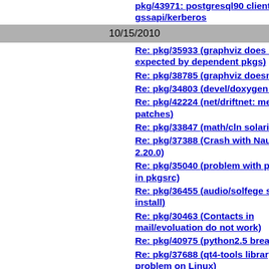pkg/43971: postgresql90 client does not support gssapi/kerberos
10/15/2010
Re: pkg/35933 (graphviz does not wo... expected by dependent pkgs)
Re: pkg/38785 (graphviz doesn't bui...
Re: pkg/34803 (devel/doxygen Solari...
Re: pkg/42224 (net/driftnet: merge d... patches)
Re: pkg/33847 (math/cln solaris amo...
Re: pkg/37388 (Crash with Nautilus ... 2.20.0)
Re: pkg/35040 (problem with pwlib ... in pkgsrc)
Re: pkg/36455 (audio/solfege solaris... install)
Re: pkg/30463 (Contacts in mail/evoluation do not work)
Re: pkg/40975 (python2.5 breaks py...
Re: pkg/37688 (qt4-tools library link... problem on Linux)
Re: pkg/42452 (mail/cue doesn't bui...